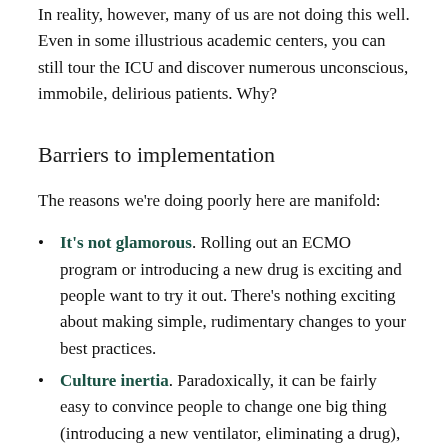In reality, however, many of us are not doing this well. Even in some illustrious academic centers, you can still tour the ICU and discover numerous unconscious, immobile, delirious patients. Why?
Barriers to implementation
The reasons we're doing poorly here are manifold:
It's not glamorous. Rolling out an ECMO program or introducing a new drug is exciting and people want to try it out. There's nothing exciting about making simple, rudimentary changes to your best practices.
Culture inertia. Paradoxically, it can be fairly easy to convince people to change one big thing (introducing a new ventilator, eliminating a drug), but difficult to ask them to change the small practices that make up their daily routine. If they expect to find their vented patients